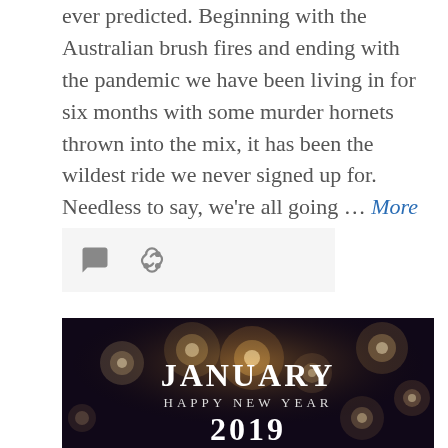ever predicted. Beginning with the Australian brush fires and ending with the pandemic we have been living in for six months with some murder hornets thrown into the mix, it has been the wildest ride we never signed up for. Needless to say, we're all going … More
[Figure (illustration): Icon bar with comment bubble and link/share icons on a light grey background]
[Figure (photo): Dark bokeh background photo with text overlay reading JANUARY / HAPPY NEW YEAR / 2019]